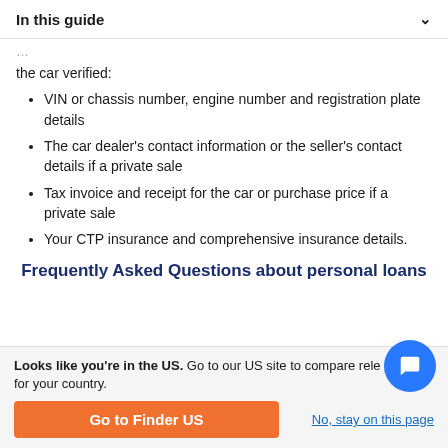In this guide
the car verified:
VIN or chassis number, engine number and registration plate details
The car dealer's contact information or the seller's contact details if a private sale
Tax invoice and receipt for the car or purchase price if a private sale
Your CTP insurance and comprehensive insurance details.
Frequently Asked Questions about personal loans
Looks like you're in the US. Go to our US site to compare rele products for your country.
Go to Finder US
No, stay on this page